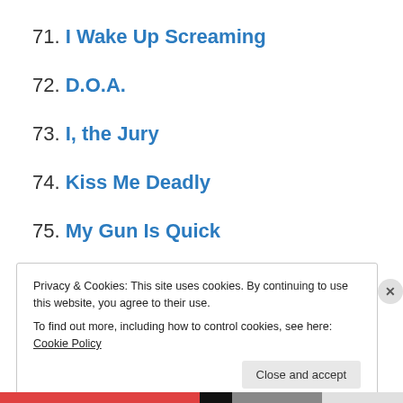71. I Wake Up Screaming
72. D.O.A.
73. I, the Jury
74. Kiss Me Deadly
75. My Gun Is Quick
76. Witness to Murder
Privacy & Cookies: This site uses cookies. By continuing to use this website, you agree to their use. To find out more, including how to control cookies, see here: Cookie Policy